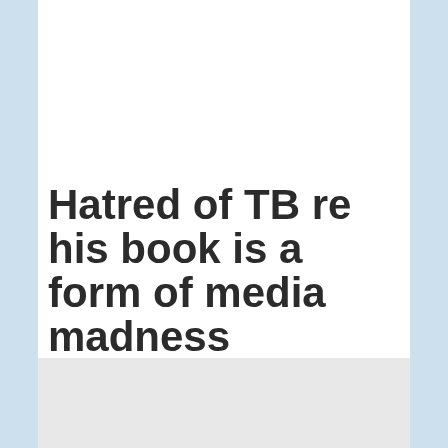[Figure (other): Gray placeholder image with hamburger menu lines icon in the upper portion of the page]
Hatred of TB re his book is a form of media madness
August 31, 2010
[Figure (other): Gray placeholder image at the bottom of the page, partially visible]